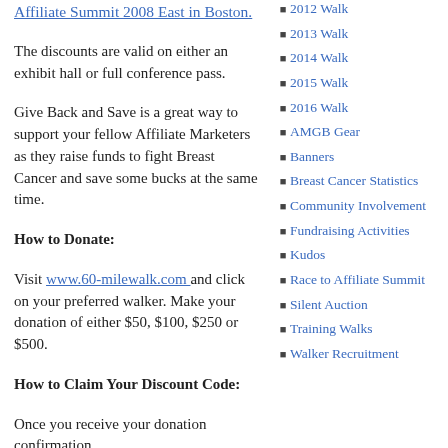Affiliate Summit 2008 East in Boston.
The discounts are valid on either an exhibit hall or full conference pass.
Give Back and Save is a great way to support your fellow Affiliate Marketers as they raise funds to fight Breast Cancer and save some bucks at the same time.
How to Donate:
Visit www.60-milewalk.com and click on your preferred walker. Make your donation of either $50, $100, $250 or $500.
How to Claim Your Discount Code:
Once you receive your donation confirmation
2012 Walk
2013 Walk
2014 Walk
2015 Walk
2016 Walk
AMGB Gear
Banners
Breast Cancer Statistics
Community Involvement
Fundraising Activities
Kudos
Race to Affiliate Summit
Silent Auction
Training Walks
Walker Recruitment